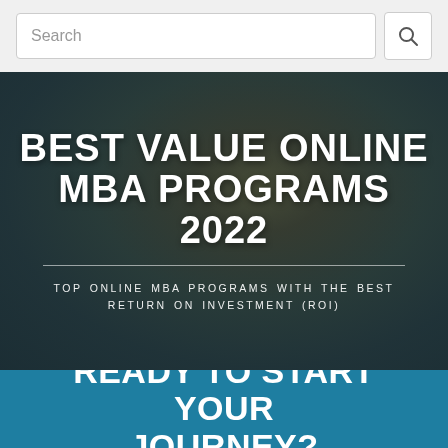Search
BEST VALUE ONLINE MBA PROGRAMS 2022
TOP ONLINE MBA PROGRAMS WITH THE BEST RETURN ON INVESTMENT (ROI)
READY TO START YOUR JOURNEY?